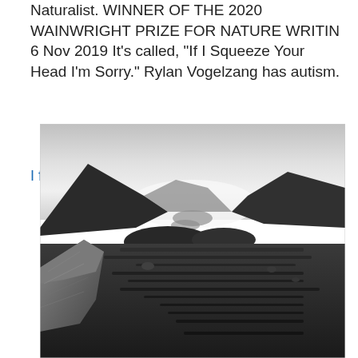Naturalist. WINNER OF THE 2020 WAINWRIGHT PRIZE FOR NATURE WRITIN 6 Nov 2019 It's called, "If I Squeeze Your Head I'm Sorry." Rylan Vogelzang has autism.
I firmanamn
[Figure (photo): Black and white landscape photograph showing a mountain valley with a river or lake winding through it, moorland in the foreground with a large rock on the left side, hills and mountains on both sides, and a misty overcast sky.]